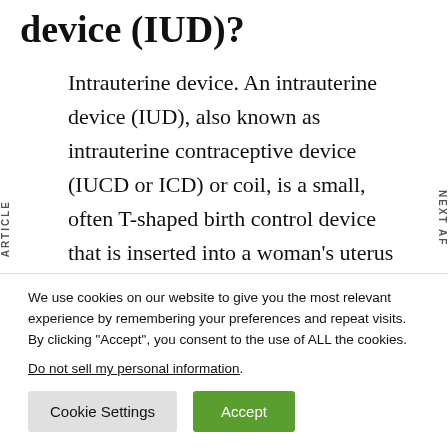device (IUD)?
Intrauterine device. An intrauterine device (IUD), also known as intrauterine contraceptive device (IUCD or ICD) or coil, is a small, often T-shaped birth control device that is inserted into a woman's uterus to prevent pregnancy.
We use cookies on our website to give you the most relevant experience by remembering your preferences and repeat visits. By clicking “Accept”, you consent to the use of ALL the cookies.
Do not sell my personal information.